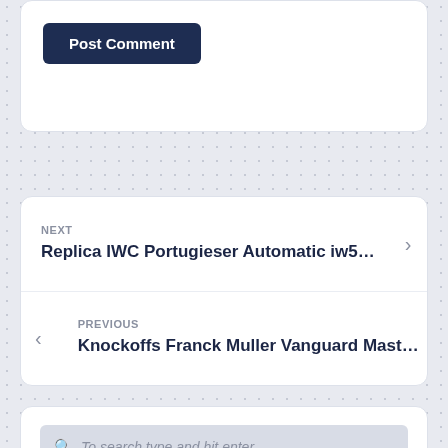Post Comment
NEXT
Replica IWC Portugieser Automatic iw5…
PREVIOUS
Knockoffs Franck Muller Vanguard Mast…
To search type and hit enter